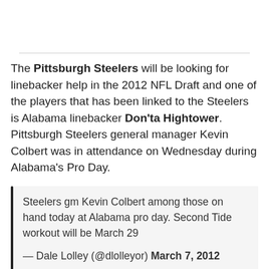The Pittsburgh Steelers will be looking for linebacker help in the 2012 NFL Draft and one of the players that has been linked to the Steelers is Alabama linebacker Don'ta Hightower. Pittsburgh Steelers general manager Kevin Colbert was in attendance on Wednesday during Alabama's Pro Day.
Steelers gm Kevin Colbert among those on hand today at Alabama pro day. Second Tide workout will be March 29
— Dale Lolley (@dlolleyor) March 7, 2012